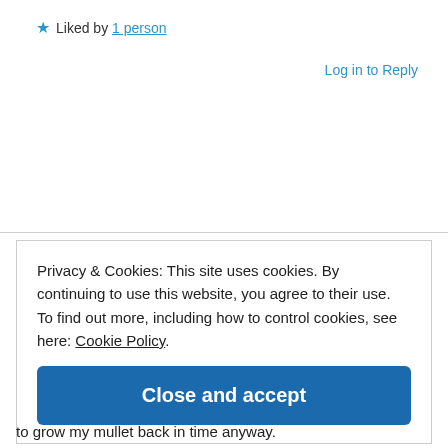★ Liked by 1 person
Log in to Reply
Privacy & Cookies: This site uses cookies. By continuing to use this website, you agree to their use.
To find out more, including how to control cookies, see here: Cookie Policy
Close and accept
to grow my mullet back in time anyway.